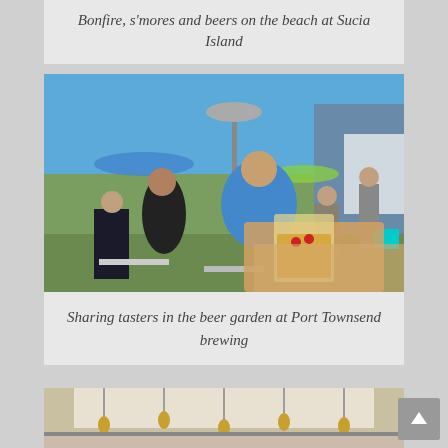Bonfire, s'mores and beers on the beach at Sucia Island
[Figure (photo): Outdoor beer garden scene with people sitting at tables, a heat lamp in the center, umbrellas, blue sky, and a hand holding up a glass of beer/cider in the foreground]
Sharing tasters in the beer garden at Port Townsend brewing
[Figure (photo): Indoor/outdoor space with hanging pendant lights visible at the top of the frame, partial view of a building exterior]